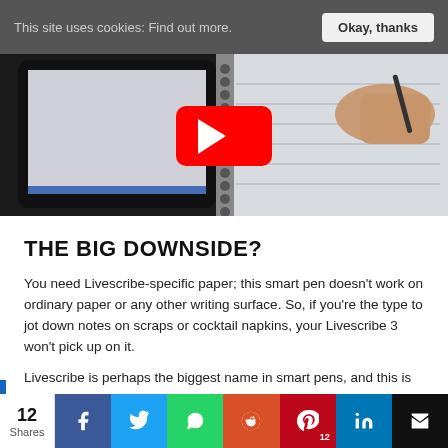This site uses cookies: Find out more.
[Figure (screenshot): Video thumbnail showing a tablet device on the left and a hand writing in a spiral notebook on the right, with a YouTube play button overlay in the center.]
THE BIG DOWNSIDE?
You need Livescribe-specific paper; this smart pen doesn't work on ordinary paper or any other writing surface. So, if you're the type to jot down notes on scraps or cocktail napkins, your Livescribe 3 won't pick up on it.
Livescribe is perhaps the biggest name in smart pens, and this is its most